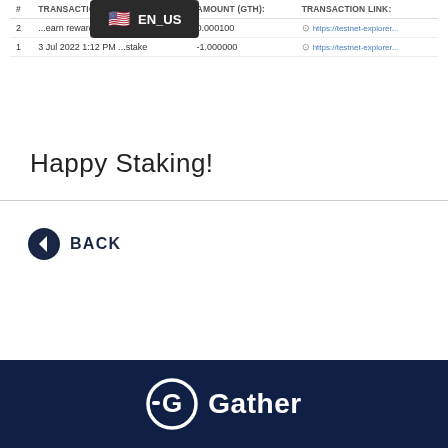[Figure (screenshot): Language selector overlay showing US flag and EN_US label on dark background]
| # | TRANSACTION TYPE: | AMOUNT (GTH): | TRANSACTION LINK: |
| --- | --- | --- | --- |
| 2 | ...earn rewards | 0.000100 | https://testnet-explorer... |
| 1 | 3 Jul 2022 1:12 PM ...stake | -1.000000 | https://testnet-explorer... |
Happy Staking!
BACK
[Figure (logo): Gather logo with white G icon and Gather text on dark navy background]